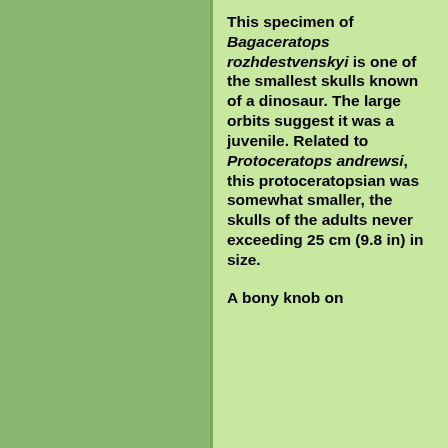[Figure (illustration): A large green rectangular panel occupying the left side of the page, serving as an image placeholder with a darker green background.]
This specimen of Bagaceratops rozhdestvenskyi is one of the smallest skulls known of a dinosaur. The large orbits suggest it was a juvenile. Related to Protoceratops andrewsi, this protoceratopsian was somewhat smaller, the skulls of the adults never exceeding 25 cm (9.8 in) in size.
A bony knob on